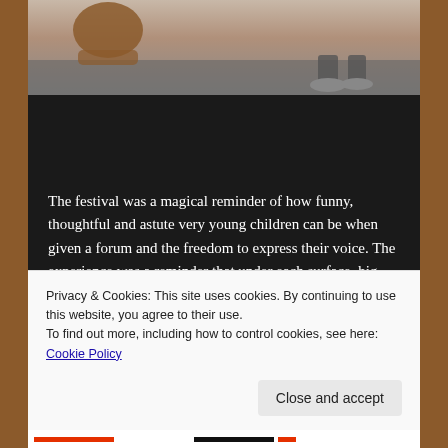[Figure (photo): Partial photo showing a person leaning over, possibly children in an indoor setting, visible at top of dark background.]
The festival was a magical reminder of how funny, thoughtful and astute very young children can be when given a forum and the freedom to express their voice. The experience was a reminder that under each surface, big ideas loom large. Imaginations are always racing,
Privacy & Cookies: This site uses cookies. By continuing to use this website, you agree to their use.
To find out more, including how to control cookies, see here: Cookie Policy
Close and accept